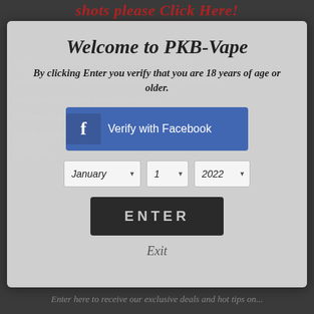shots please Click Here!
Welcome to PKB-Vape
By clicking Enter you verify that you are 18 years of age or older.
[Figure (screenshot): Verify with Facebook button (blue, with Facebook logo)]
[Figure (screenshot): Date selector dropdowns: January, 1, 2022]
[Figure (screenshot): ENTER button (dark/black)]
Exit
Enter here to receive our exclusive deals and hot tips on...